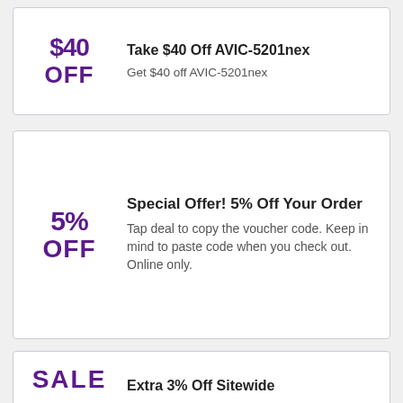$40 OFF | Take $40 Off AVIC-5201nex | Get $40 off AVIC-5201nex
5% OFF | Special Offer! 5% Off Your Order | Tap deal to copy the voucher code. Keep in mind to paste code when you check out. Online only.
SALE | Extra 3% Off Sitewide | Get an Additional 3% discount rate on